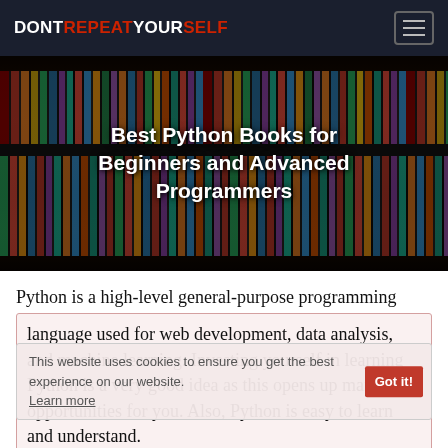DONTREPEATYOURSELF
[Figure (photo): Colorful book shelves in a library with many books, serving as a hero banner image]
Best Python Books for Beginners and Advanced Programmers
Python is a high-level general-purpose programming language used for web development, data analysis, and machine learning. Investing yourself in learning Python is a very good idea as this opens up many opportunities for you. Also, Python is easy to learn and understand.
This website uses cookies to ensure you get the best experience on our website. Got it! Learn more